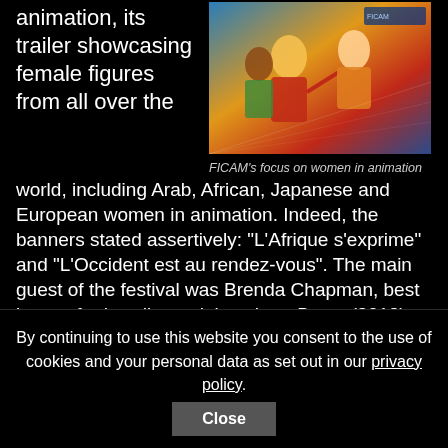animation, its trailer showcasing female figures from all over the
[Figure (photo): Photo of animated female figures mural displayed at FICAM festival, showing colorful animated women characters from various cultures]
FICAM's focus on women in animation
world, including Arab, African, Japanese and European women in animation. Indeed, the banners stated assertively: “L’Afrique s’exprime” and “L’Occident est au rendez-vous”. The main guest of the festival was Brenda Chapman, best known for her directorial work on Brave (2012), The Prince of Egypt (1998) and The Lion King (1994). Chapman gave the festival’s lecture on its first day, focusing on her own and other women’s contributions to American animation. Other guests were Carlos
By continuing to use this website you consent to the use of cookies and your personal data as set out in our privacy policy.
Close